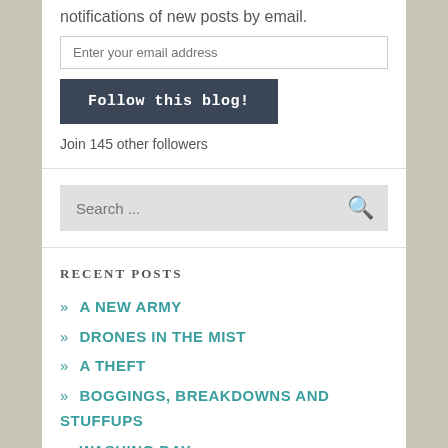notifications of new posts by email.
Enter your email address
Follow this blog!
Join 145 other followers
Search ...
RECENT POSTS
» A NEW ARMY
» DRONES IN THE MIST
» A THEFT
» BOGGINGS, BREAKDOWNS AND STUFFUPS
» WASHING DAY